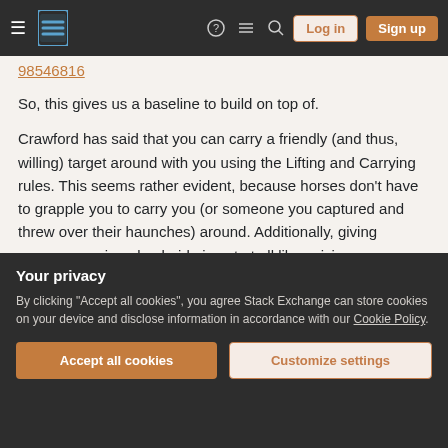Stack Exchange navigation bar with Log in and Sign up buttons
98546816
So, this gives us a baseline to build on top of.
Crawford has said that you can carry a friendly (and thus, willing) target around with you using the Lifting and Carrying rules. This seems rather evident, because horses don't have to grapple you to carry you (or someone you captured and threw over their haunches) around. Additionally, giving someone a piggy-back ride is not at all like seizing someone in combat. Furthermore, he states that the Lift/Carry rules do not apply to Grappling.
Your privacy
By clicking "Accept all cookies", you agree Stack Exchange can store cookies on your device and disclose information in accordance with our Cookie Policy.
Accept all cookies
Customize settings